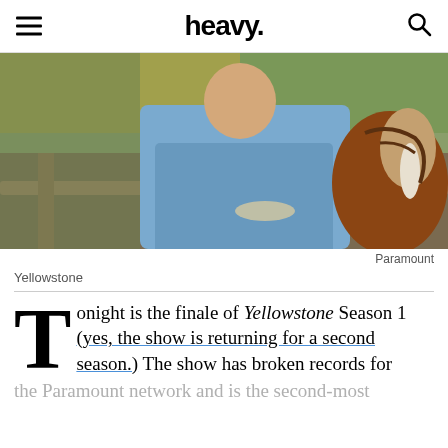heavy.
[Figure (photo): Man in blue denim shirt leaning on a fence rail next to a brown and white horse, outdoor ranch setting with autumn foliage in background]
Paramount
Yellowstone
Tonight is the finale of Yellowstone Season 1 (yes, the show is returning for a second season.) The show has broken records for the Paramount network and is the second-most